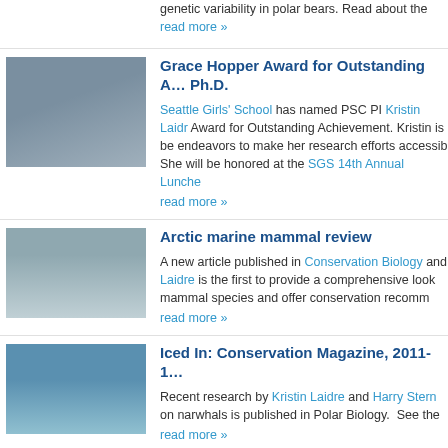genetic variability in polar bears. Read about the
read more »
[Figure (photo): Person crouching with camera on tripod near icy water]
Grace Hopper Award for Outstanding Achievement Ph.D.
Seattle Girls' School has named PSC PI Kristin Laidr Award for Outstanding Achievement. Kristin is be endeavors to make her research efforts accessib She will be honored at the SGS 14th Annual Lunche
read more »
[Figure (photo): Whale tail emerging from arctic water]
Arctic marine mammal review
A new article published in Conservation Biology and Laidre is the first to provide a comprehensive look mammal species and offer conservation recomm
read more »
[Figure (photo): Marine mammal swimming in open water]
Iced In: Conservation Magazine, 2011-1
Recent research by Kristin Laidre and Harry Stern on narwhals is published in Polar Biology.  See the
read more »